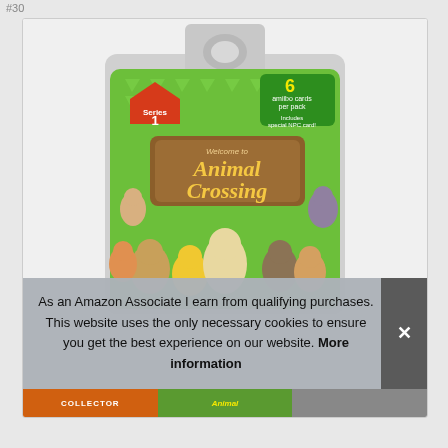#30
[Figure (photo): Animal Crossing amiibo cards Series 1 pack product photo. Green card pack with yellow triangle pattern, red house icon with 'Series 1' label, Animal Crossing logo with game characters, '6 amiibo cards per pack' and 'Includes 1 special NPC card!' badge in green corner.]
As an Amazon Associate I earn from qualifying purchases. This website uses the only necessary cookies to ensure you get the best experience on our website. More information
[Figure (photo): Bottom thumbnails showing partial product images including orange COLLECTOR card and Animal Crossing green card.]